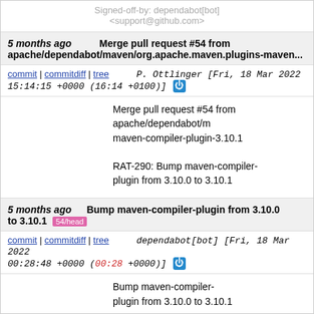Signed-off-by: dependabot[bot] <support@github.com>
5 months ago   Merge pull request #54 from apache/dependabot/maven/org.apache.maven.plugins-maven...
commit | commitdiff | tree   P. Ottlinger [Fri, 18 Mar 2022 15:14:15 +0000 (16:14 +0100)]
Merge pull request #54 from apache/dependabot/m maven-compiler-plugin-3.10.1

RAT-290: Bump maven-compiler-plugin from 3.10.0 to 3.10.1
5 months ago   Bump maven-compiler-plugin from 3.10.0 to 3.10.1  54/head
commit | commitdiff | tree   dependabot[bot] [Fri, 18 Mar 2022 00:28:48 +0000 (00:28 +0000)]
Bump maven-compiler-plugin from 3.10.0 to 3.10.1

Bumps [maven-compiler-plugin](https://github.com/apache/maven-compiler-plugin) from 3.10.0 to 3.10.1.
- [Release notes](https://github.com/apache/maven-compiler-plugin/releases)